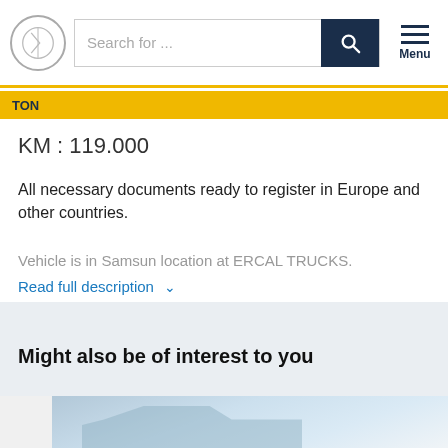Search for ...
KM : 119.000
All necessary documents ready to register in Europe and other countries.
Vehicle is in Samsun location at ERCAL TRUCKS.
Read full description
Might also be of interest to you
[Figure (photo): Thumbnail image of a truck, partially visible at bottom of page]